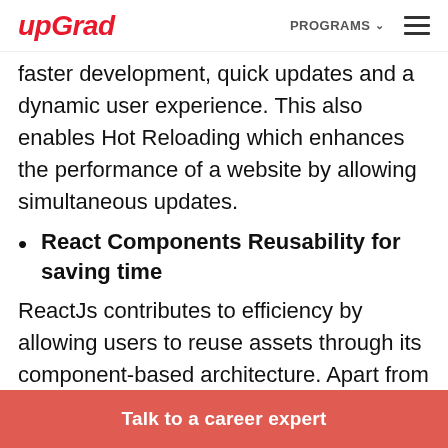upGrad | PROGRAMS ☰
faster development, quick updates and a dynamic user experience. This also enables Hot Reloading which enhances the performance of a website by allowing simultaneous updates.
React Components Reusability for saving time
ReactJs contributes to efficiency by allowing users to reuse assets through its component-based architecture. Apart from saving enormous
Talk to a career expert